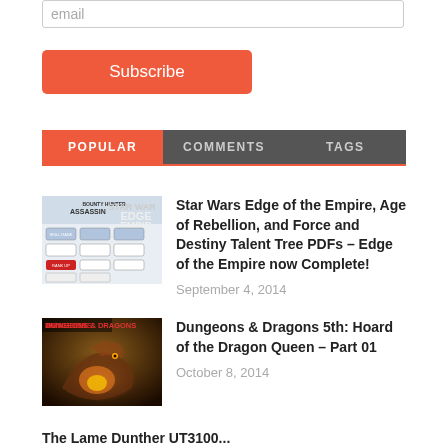email
Subscribe
POPULAR | COMMENTS | TAGS
[Figure (screenshot): Star Wars Edge of the Empire talent tree thumbnail image]
Star Wars Edge of the Empire, Age of Rebellion, and Force and Destiny Talent Tree PDFs – Edge of the Empire now Complete!
September 4, 2014
[Figure (photo): Dungeons & Dragons dragon artwork thumbnail]
Dungeons & Dragons 5th: Hoard of the Dragon Queen – Part 01
October 8, 2014
The Lame Dunther UT3100...